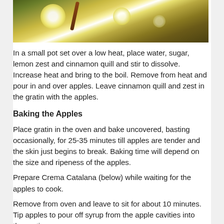[Figure (photo): Photo of apples cooking in a pot or gratin dish with syrup, showing a cinnamon quill and light reflections on the liquid surface, with green herbs or leaves visible.]
In a small pot set over a low heat, place water, sugar, lemon zest and cinnamon quill and stir to dissolve. Increase heat and bring to the boil. Remove from heat and pour in and over apples. Leave cinnamon quill and zest in the gratin with the apples.
Baking the Apples
Place gratin in the oven and bake uncovered, basting occasionally, for 25-35 minutes till apples are tender and the skin just begins to break. Baking time will depend on the size and ripeness of the apples.
Prepare Crema Catalana (below) while waiting for the apples to cook.
Remove from oven and leave to sit for about 10 minutes. Tip apples to pour off syrup from the apple cavities into the gratin.
To Serve